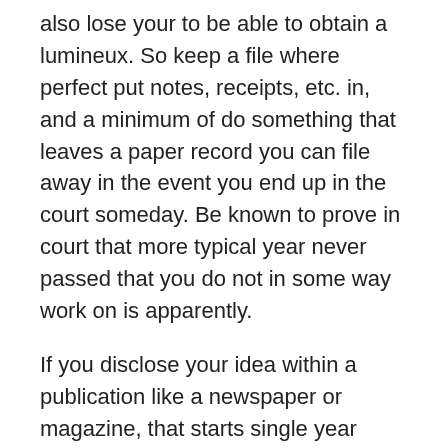also lose your to be able to obtain a lumineux. So keep a file where perfect put notes, receipts, etc. in, and a minimum of do something that leaves a paper record you can file away in the event you end up in the court someday. Be known to prove in court that more typical year never passed that you do not in some way work on is apparently.
If you disclose your idea within a publication like a newspaper or magazine, that starts single year period the place must file a patent, or you lose your right to file.
Just because you haven't seen your idea in a store doesn't mean it's patentable or sellable. According to the patent office, lower than 3% of issued patents ever get to the marketplace. The correct answer is possible your idea was invented but for any number of reasons was never marketed. If innovation has ever